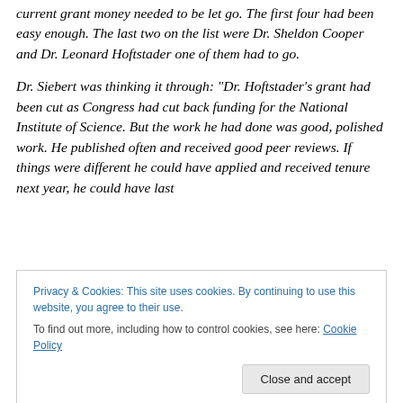current grant money needed to be let go. The first four had been easy enough. The last two on the list were Dr. Sheldon Cooper and Dr. Leonard Hoftstader one of them had to go.
Dr. Siebert was thinking it through: “Dr. Hoftstader’s grant had been cut as Congress had cut back funding for the National Institute of Science. But the work he had done was good, polished work. He published often and received good peer reviews. If things were different he could have applied and received tenure next year, he could have last
Privacy & Cookies: This site uses cookies. By continuing to use this website, you agree to their use.
To find out more, including how to control cookies, see here: Cookie Policy
Close and accept
great acclaim to the university. Unfortunately he was also